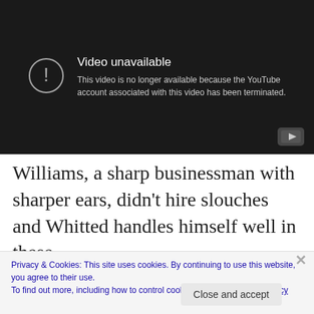[Figure (screenshot): YouTube video unavailable error screen with dark background. Shows a circle with exclamation mark icon and text: 'Video unavailable - This video is no longer available because the YouTube account associated with this video has been terminated.' YouTube play button logo in bottom-right corner.]
Williams, a sharp businessman with sharper ears, didn't hire slouches and Whitted handles himself well in these more open contexts. Yet the Johnson band's September
Privacy & Cookies: This site uses cookies. By continuing to use this website, you agree to their use.
To find out more, including how to control cookies, see here: Cookie Policy